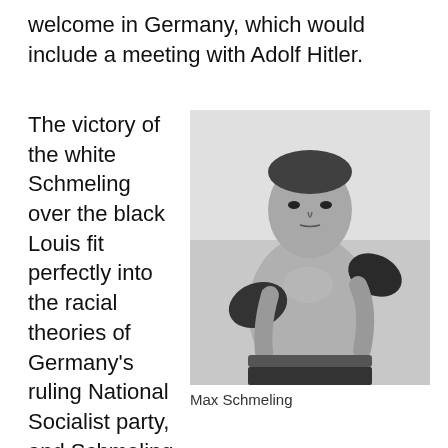welcome in Germany, which would include a meeting with Adolf Hitler.
The victory of the white Schmeling over the black Louis fit perfectly into the racial theories of Germany's ruling National Socialist party, and Schmeling was treated as a German
[Figure (photo): Black and white photograph of Max Schmeling in a boxing stance, shirtless, wearing dark boxing gloves and shorts.]
Max Schmeling